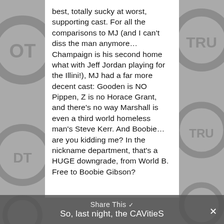[Figure (illustration): Grey background with faded sports/basketball logo watermarks on left and right sides]
best, totally sucky at worst, supporting cast. For all the comparisons to MJ (and I can't diss the man anymore… Champaign is his second home what with Jeff Jordan playing for the Illini!), MJ had a far more decent cast: Gooden is NO Pippen, Z is no Horace Grant, and there's no way Marshall is even a third world homeless man's Steve Kerr. And Boobie… are you kidding me? In the nickname department, that's a HUGE downgrade, from World B. Free to Boobie Gibson?
Share This ∨
So, last night, the CAVitieS